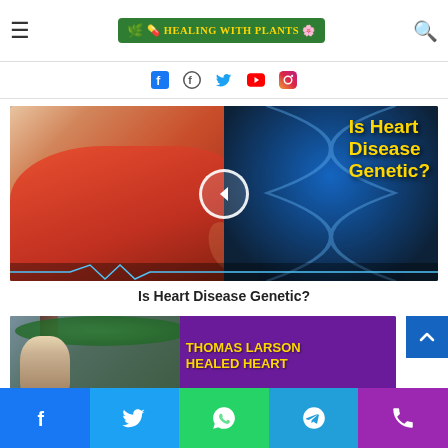Healing With Plants
...realurl.com or an Amazon...
[Figure (screenshot): Social media icons row: Facebook, Twitter, YouTube, Instagram]
[Figure (screenshot): Video thumbnail showing a man clutching his chest with text overlay 'Is Heart Disease Genetic?' in yellow, with a play button circle]
Is Heart Disease Genetic?
[Figure (screenshot): Thumbnail showing a man outdoors with purple overlay text 'THOMAS LARSON HEALED HEART']
Facebook, Twitter, WhatsApp, Telegram, Phone share buttons